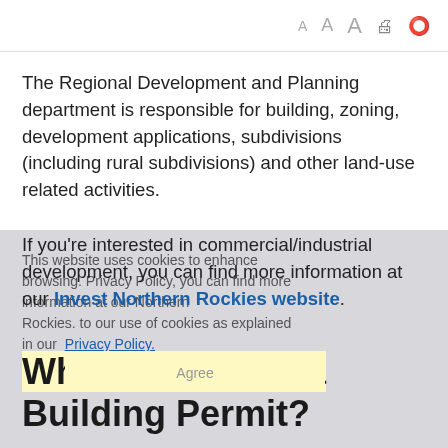The Regional Development and Planning department is responsible for building, zoning, development applications, subdivisions (including rural subdivisions) and other land-use related activities.
If you're interested in commercial/industrial development, you can find more information at our Invest Northern Rockies website.
This website uses cookies to enhance browsing. Privacy Policy. Agree
When Do I Need a Building Permit?